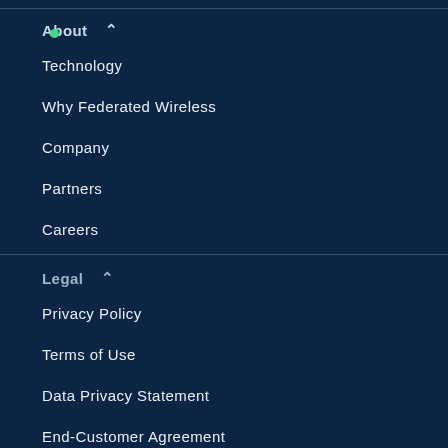About ^
Technology
Why Federated Wireless
Company
Partners
Careers
Legal ^
Privacy Policy
Terms of Use
Data Privacy Statement
End-Customer Agreement